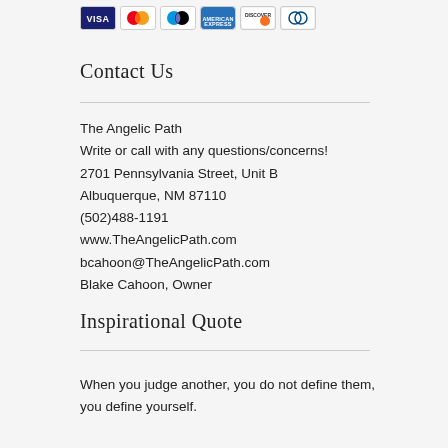[Figure (other): Row of payment method card icons: VISA, Mastercard, Maestro, American Express, Discover, Diners Club]
Contact Us
The Angelic Path
Write or call with any questions/concerns!
2701 Pennsylvania Street, Unit B
Albuquerque, NM 87110
(502)488-1191
www.TheAngelicPath.com
bcahoon@TheAngelicPath.com
Blake Cahoon, Owner
Inspirational Quote
When you judge another, you do not define them, you define yourself.